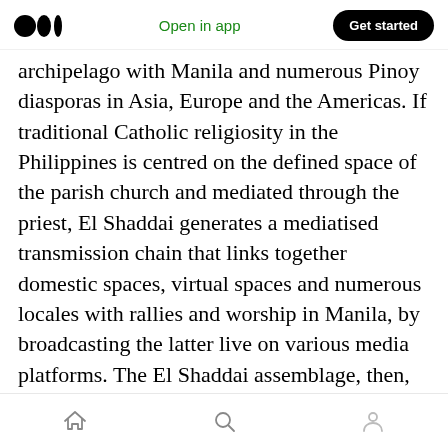Medium logo | Open in app | Get started
archipelago with Manila and numerous Pinoy diasporas in Asia, Europe and the Americas. If traditional Catholic religiosity in the Philippines is centred on the defined space of the parish church and mediated through the priest, El Shaddai generates a mediatised transmission chain that links together domestic spaces, virtual spaces and numerous locales with rallies and worship in Manila, by broadcasting the latter live on various media platforms. The El Shaddai assemblage, then, also combines, relates and connects a host of previously distinct elements and gives them a new form.
Home | Search | Profile